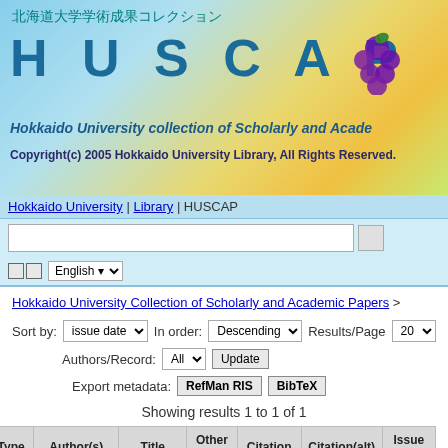[Figure (logo): HUSCAP Hokkaido University collection of Scholarly and Academic Papers header banner with Japanese text, logo, and decorative background]
Hokkaido University | Library | HUSCAP
Sort by: issue date  In order: Descending  Results/Page 20  Authors/Record: All  Update  Export metadata: RefMan RIS  BibTeX
Showing results 1 to 1 of 1
| Type | Author(s) | Title | Other Titles | Citation | Citation(alt) | Issue Da... |
| --- | --- | --- | --- | --- | --- | --- |
|  | Abe, Shinji; Yamakawa, Tomoji; Kawashima, Hideaki; Yoshida, | Surgery for |  |  |  |  |